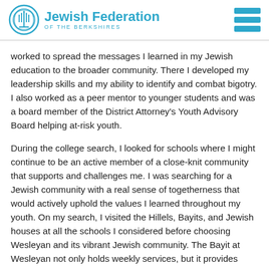Jewish Federation OF THE BERKSHIRES
worked to spread the messages I learned in my Jewish education to the broader community. There I developed my leadership skills and my ability to identify and combat bigotry. I also worked as a peer mentor to younger students and was a board member of the District Attorney's Youth Advisory Board helping at-risk youth.
During the college search, I looked for schools where I might continue to be an active member of a close-knit community that supports and challenges me. I was searching for a Jewish community with a real sense of togetherness that would actively uphold the values I learned throughout my youth. On my search, I visited the Hillels, Bayits, and Jewish houses at all the schools I considered before choosing Wesleyan and its vibrant Jewish community. The Bayit at Wesleyan not only holds weekly services, but it provides housing for students who identify within